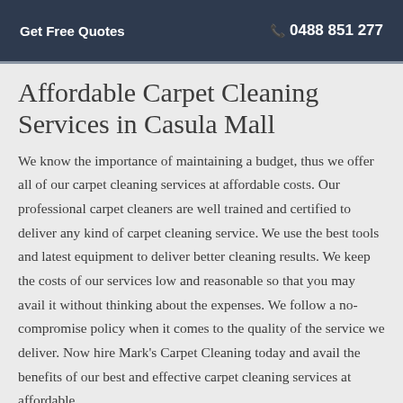Get Free Quotes   📞 0488 851 277
Affordable Carpet Cleaning Services in Casula Mall
We know the importance of maintaining a budget, thus we offer all of our carpet cleaning services at affordable costs. Our professional carpet cleaners are well trained and certified to deliver any kind of carpet cleaning service. We use the best tools and latest equipment to deliver better cleaning results. We keep the costs of our services low and reasonable so that you may avail it without thinking about the expenses. We follow a no-compromise policy when it comes to the quality of the service we deliver. Now hire Mark's Carpet Cleaning today and avail the benefits of our best and effective carpet cleaning services at affordable